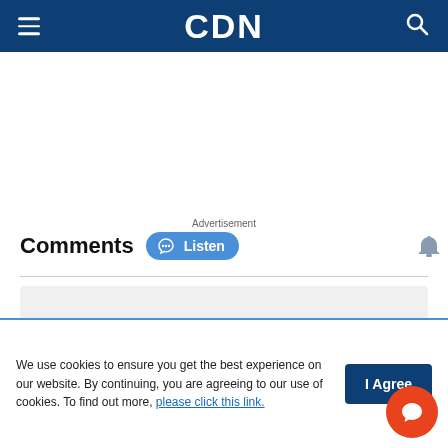CDN
Advertisement
Comments
Listen
[Figure (other): Gray placeholder comment input box]
We use cookies to ensure you get the best experience on our website. By continuing, you are agreeing to our use of cookies. To find out more, please click this link.
I Agree